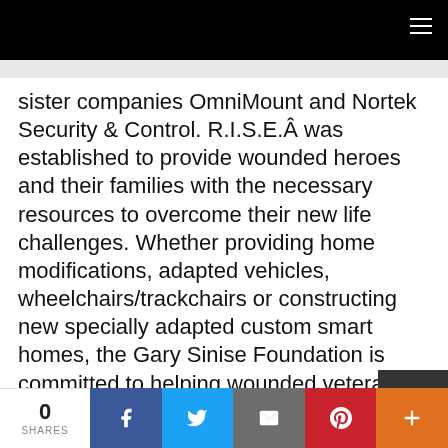Navigation bar with hamburger menu
sister companies OmniMount and Nortek Security & Control. R.I.S.E.Â was established to provide wounded heroes and their families with the necessary resources to overcome their new life challenges. Whether providing home modifications, adapted vehicles, wheelchairs/trackchairs or constructing new specially adapted custom smart homes, the Gary Sinise Foundation is committed to helping wounded veterans increase their mobility and
0 SHARES | Facebook | Twitter | Email | Pinterest | More